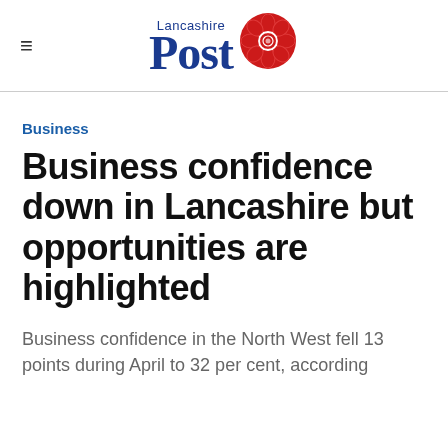Lancashire Post
Business
Business confidence down in Lancashire but opportunities are highlighted
Business confidence in the North West fell 13 points during April to 32 per cent, according